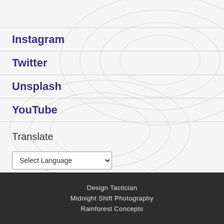Instagram
Twitter
Unsplash
YouTube
Translate
Select Language
Powered by Google Translate
Design Tactician
Midnight Shift Photography
Rainforest Concepts